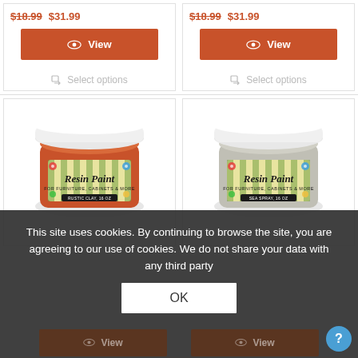[Figure (screenshot): E-commerce product listing page showing paint jars. Top row: two product cells with prices $18.99 and $31.99 crossed out and in orange, View buttons in orange, and Select options links in gray. Bottom row: two paint jar product images - Rustic Clay Resin Paint and Sea Spray Resin Paint.]
This site uses cookies. By continuing to browse the site, you are agreeing to our use of cookies. We do not share your data with any third party
OK